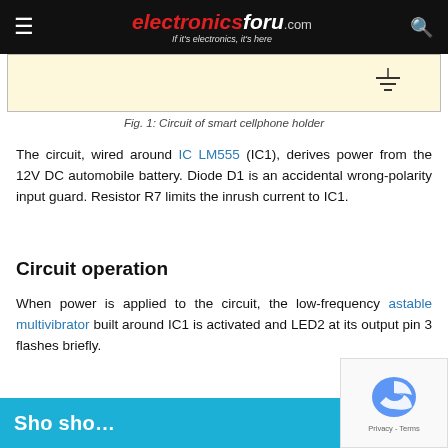electronicsforu.com — If it's electronics, it's here
[Figure (schematic): Partial circuit diagram of smart cellphone holder showing a ground symbol on a light yellow background]
Fig. 1: Circuit of smart cellphone holder
The circuit, wired around IC LM555 (IC1), derives power from the 12V DC automobile battery. Diode D1 is an accidental wrong-polarity input guard. Resistor R7 limits the inrush current to IC1.
Circuit operation
When power is applied to the circuit, the low-frequency astable multivibrator built around IC1 is activated and LED2 at its output pin 3 flashes briefly.
[Figure (other): Blue banner at bottom with white bold text partially visible]
[Figure (other): reCAPTCHA widget in bottom right corner]